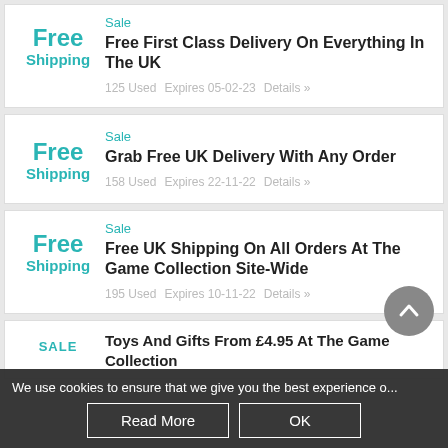[Figure (screenshot): Screenshot of a deals/coupons webpage listing free shipping offers for The Game Collection, with a cookie consent bar at the bottom.]
Sale
Free First Class Delivery On Everything In The UK
125 Used   Expires 05-02-23   Details »
Sale
Grab Free UK Delivery With Any Order
158 Used   Expires 22-11-22   Details »
Sale
Free UK Shipping On All Orders At The Game Collection Site-Wide
195 Used   Expires 10-11-22   Details »
Sale
Toys And Gifts From £4.95 At The Game Collection
We use cookies to ensure that we give you the best experience o...
Read More   OK